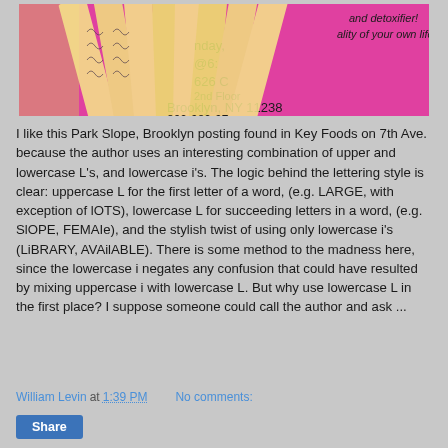[Figure (photo): Photo of handwritten note slips arranged against a pink/magenta background. The background shows partial text including 'nday,', '@6:', '626 C', '2nd Floor', 'Brooklyn, NY 11238', '800-980-07...' and partial text 'and detoxifier!' and 'ality of your own life!']
I like this Park Slope, Brooklyn posting found in Key Foods on 7th Ave. because the author uses an interesting combination of upper and lowercase L's, and lowercase i's. The logic behind the lettering style is clear: uppercase L for the first letter of a word, (e.g. LARGE, with exception of lOTS), lowercase L for succeeding letters in a word, (e.g. SlOPE, FEMAIe), and the stylish twist of using only lowercase i's (LiBRARY, AVAilABLE). There is some method to the madness here, since the lowercase i negates any confusion that could have resulted by mixing uppercase i with lowercase L. But why use lowercase L in the first place? I suppose someone could call the author and ask ...
William Levin at 1:39 PM    No comments:
Share